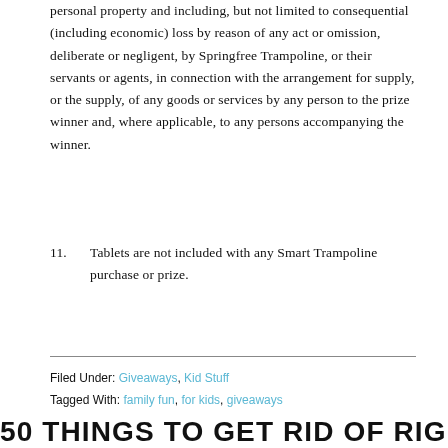personal property and including, but not limited to consequential (including economic) loss by reason of any act or omission, deliberate or negligent, by Springfree Trampoline, or their servants or agents, in connection with the arrangement for supply, or the supply, of any goods or services by any person to the prize winner and, where applicable, to any persons accompanying the winner.
11. Tablets are not included with any Smart Trampoline purchase or prize.
Filed Under: Giveaways, Kid Stuff
Tagged With: family fun, for kids, giveaways
50 THINGS TO GET RID OF RIGHT